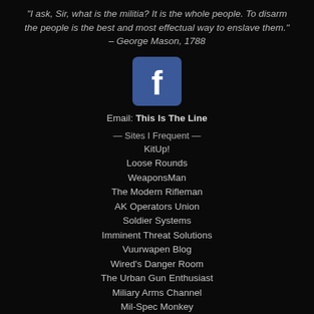"I ask, Sir, what is the militia? It is the whole people. To disarm the people is the best and most effectual way to enslave them." – George Mason, 1788
[Figure (logo): Facebook logo — white 'f' on blue rounded square background]
Email: This Is The Line
— Sites I Frequent —
KitUp!
Loose Rounds
WeaponsMan
The Modern Rifleman
AK Operators Union
Soldier Systems
Imminent Threat Solutions
Vuurwapen Blog
Wired's Danger Room
The Urban Gun Enthusiast
Miliary Arms Channel
Mil-Spec Monkey
This Ain't Hell Blog
Jerking The Trigger
SA Defense Journal